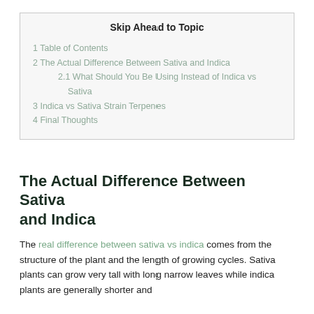Skip Ahead to Topic
1 Table of Contents
2 The Actual Difference Between Sativa and Indica
2.1 What Should You Be Using Instead of Indica vs Sativa
3 Indica vs Sativa Strain Terpenes
4 Final Thoughts
The Actual Difference Between Sativa and Indica
The real difference between sativa vs indica comes from the structure of the plant and the length of growing cycles. Sativa plants can grow very tall with long narrow leaves while indica plants are generally shorter and